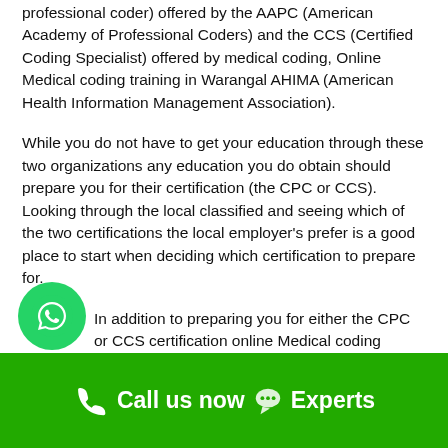professional coder) offered by the AAPC (American Academy of Professional Coders) and the CCS (Certified Coding Specialist) offered by medical coding, Online Medical coding training in Warangal AHIMA (American Health Information Management Association).
While you do not have to get your education through these two organizations any education you do obtain should prepare you for their certification (the CPC or CCS). Looking through the local classified and seeing which of the two certifications the local employer's prefer is a good place to start when deciding which certification to prepare for.
In addition to preparing you for either the CPC or CCS certification online Medical coding training in Warangal courses should also include the following:
Call us now  Experts